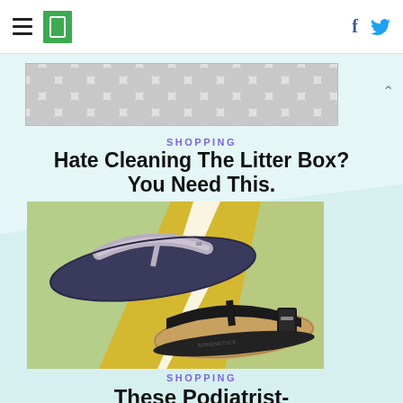HuffPost navigation header with hamburger menu, logo, Facebook and Twitter icons
[Figure (illustration): Advertisement banner with gray polka-dot / bubble pattern]
SHOPPING
Hate Cleaning The Litter Box? You Need This.
[Figure (photo): Two sandals on a colorful green and yellow background — a navy flip-flop with metallic strap and an infinity logo, and a black Birkenstock-style sandal with cork footbed and black buckle strap]
SHOPPING
These Podiatrist-